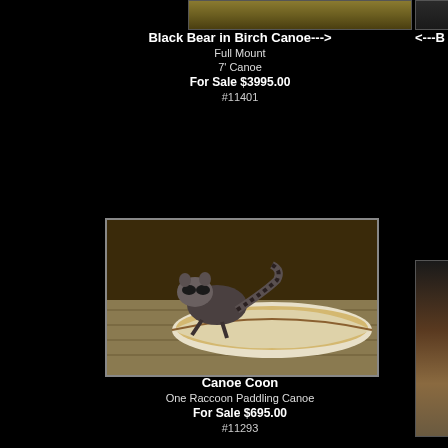[Figure (photo): Partial top photo of Black Bear in Birch Canoe, cropped at top]
Black Bear in Birch Canoe--->
Full Mount
7' Canoe
For Sale $3995.00
#11401
[Figure (photo): Partial photo on top right, cropped, with text <---B]
[Figure (photo): Partial photo on bottom right, showing wooden furniture and animal mount]
[Figure (photo): Raccoon in a birch bark canoe on wooden deck - taxidermy display mount]
Canoe Coon
One Raccoon Paddling Canoe
For Sale $695.00
#11293